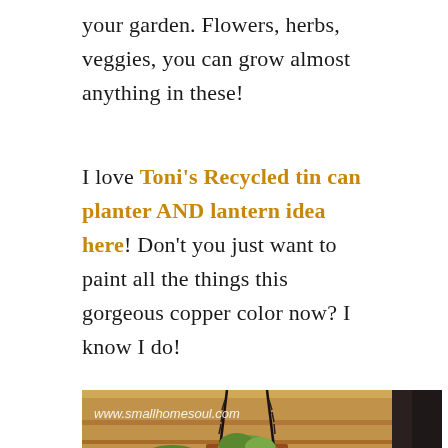your garden. Flowers, herbs, veggies, you can grow almost anything in these!
I love Toni's Recycled tin can planter AND lantern idea here! Don't you just want to paint all the things this gorgeous copper color now? I know I do!
[Figure (photo): Outdoor patio/porch scene showing a copper-painted tin can hanging from a chain beneath a wooden ceiling, with a lush green garden and trees visible in the background. Watermark reads www.smallhomesoul.com]